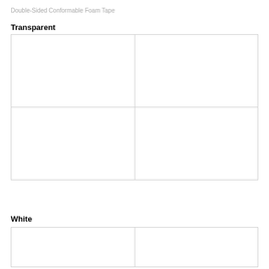Double-Sided Conformable Foam Tape
Transparent
|  |  |
|  |  |
White
|  |  |